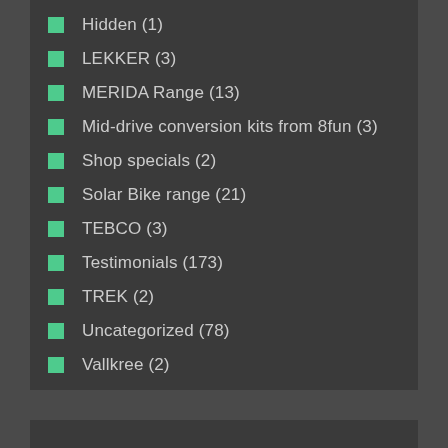Hidden (1)
LEKKER (3)
MERIDA Range (13)
Mid-drive conversion kits from 8fun (3)
Shop specials (2)
Solar Bike range (21)
TEBCO (3)
Testimonials (173)
TREK (2)
Uncategorized (78)
Vallkree (2)
XDS range (3)